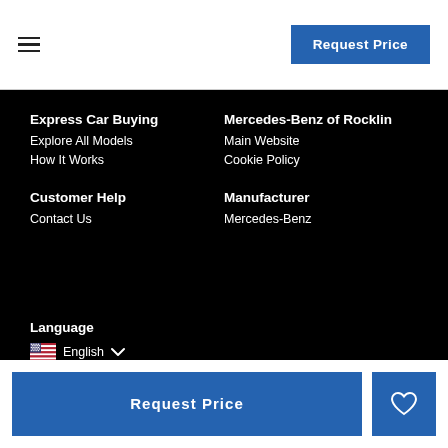≡  Request Price
Express Car Buying
Explore All Models
How It Works
Mercedes-Benz of Rocklin
Main Website
Cookie Policy
Customer Help
Contact Us
Manufacturer
Mercedes-Benz
Language
English ▾
Request Price  ♡